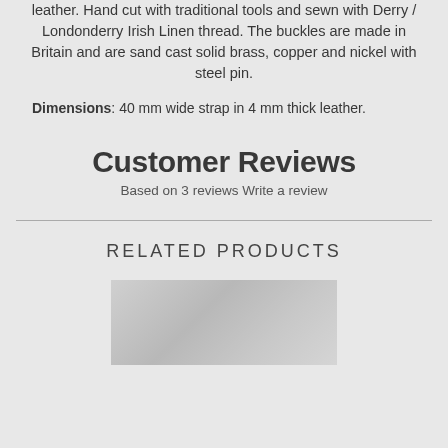leather. Hand cut with traditional tools and sewn with Derry / Londonderry Irish Linen thread. The buckles are made in Britain and are sand cast solid brass, copper and nickel with steel pin.
Dimensions: 40 mm wide strap in 4 mm thick leather.
Customer Reviews
Based on 3 reviews Write a review
RELATED PRODUCTS
[Figure (photo): Product image placeholder for related product]